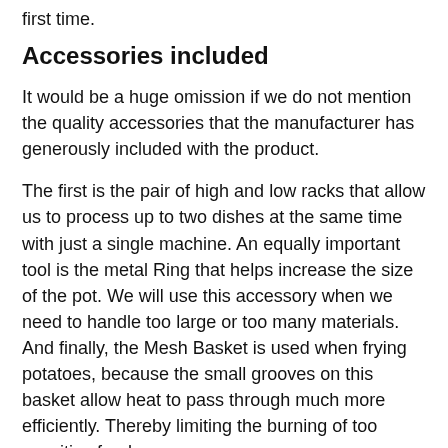first time.
Accessories included
It would be a huge omission if we do not mention the quality accessories that the manufacturer has generously included with the product.
The first is the pair of high and low racks that allow us to process up to two dishes at the same time with just a single machine. An equally important tool is the metal Ring that helps increase the size of the pot. We will use this accessory when we need to handle too large or too many materials. And finally, the Mesh Basket is used when frying potatoes, because the small grooves on this basket allow heat to pass through much more efficiently. Thereby limiting the burning of too sensitive foods.
With a total of 4 different accessories to support, our cooking process will now become a lot simpler. In addition, you do